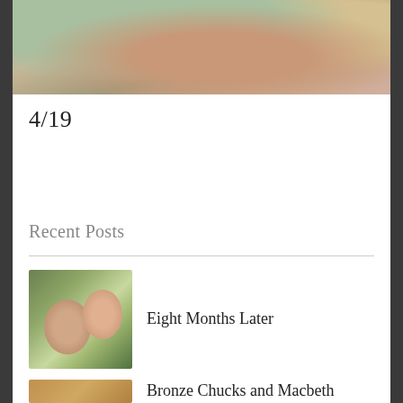[Figure (photo): Top cropped photo showing a person lying in what appears to be a hospital bed, wearing a plaid shirt and earbuds, with a yellow bag visible in background]
4/19
Recent Posts
[Figure (photo): Thumbnail photo of two people taking a selfie, a man and a woman, outdoors with green foliage in background]
Eight Months Later
[Figure (photo): Thumbnail photo partially visible at bottom of page]
Bronze Chucks and Macbeth